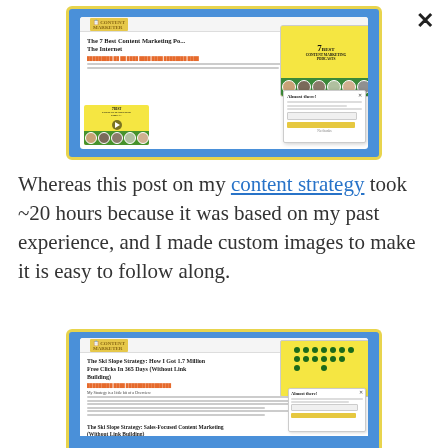[Figure (screenshot): Screenshot of a content marketing website showing '7 Best Content Marketing Podcasts' post with a popup overlay and video thumbnail, displayed on a blue background with yellow border]
Whereas this post on my content strategy took ~20 hours because it was based on my past experience, and I made custom images to make it is easy to follow along.
[Figure (screenshot): Screenshot of a content marketing website showing 'The Ski Slope Strategy: How I Got 1.7 Million Free Clicks In 365 Days (Without Link Building)' post with a yellow dots overlay and popup, on a blue background with yellow border]